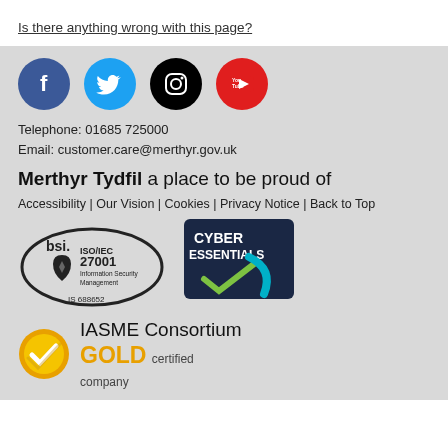Is there anything wrong with this page?
[Figure (other): Social media icons: Facebook (blue circle), Twitter (light blue circle), Instagram (black circle), YouTube (red circle)]
Telephone: 01685 725000
Email: customer.care@merthyr.gov.uk
Merthyr Tydfil a place to be proud of
Accessibility | Our Vision | Cookies | Privacy Notice | Back to Top
[Figure (logo): BSI ISO/IEC 27001 Information Security Management IS 688652 certification logo]
[Figure (logo): Cyber Essentials certification badge with checkmark]
[Figure (logo): Gold circular checkmark badge]
IASME Consortium GOLD certified company